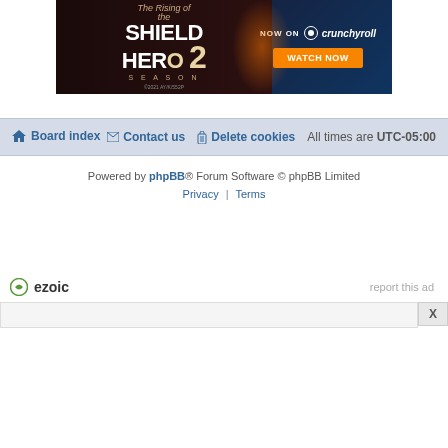[Figure (illustration): Advertisement banner for 'The Rising of the Shield Hero Season 2' anime, showing 'NOW ON crunchyroll' with a 'WATCH NOW' button on orange background. Copyright 2021 AY/K/552P.]
Board index   Contact us   Delete cookies   All times are UTC-05:00
Powered by phpBB® Forum Software © phpBB Limited
Privacy | Terms
[Figure (logo): Ezoic logo with circular icon, 'report this ad' link, and a close X button area with bottom ad slot.]